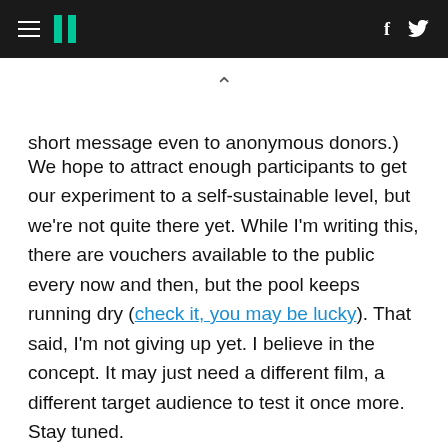HuffPost navigation header with hamburger menu, logo, Facebook and Twitter icons
short message even to anonymous donors.)
We hope to attract enough participants to get our experiment to a self-sustainable level, but we're not quite there yet. While I'm writing this, there are vouchers available to the public every now and then, but the pool keeps running dry (check it, you may be lucky). That said, I'm not giving up yet. I believe in the concept. It may just need a different film, a different target audience to test it once more. Stay tuned.